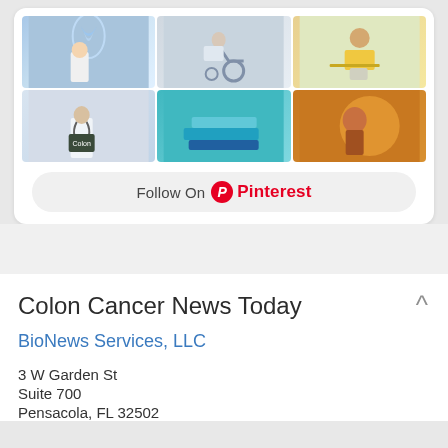[Figure (photo): Pinterest board widget showing a 3x2 grid of medical/health photos including a doctor with DNA strand, wheelchair user, person with laptop, doctor with stethoscope and Colon chalkboard sign, books, and a child thinking. Below the grid is a 'Follow On Pinterest' button.]
Colon Cancer News Today
BioNews Services, LLC
3 W Garden St
Suite 700
Pensacola, FL 32502